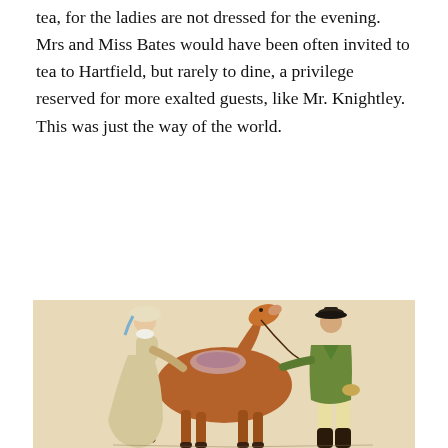tea, for the ladies are not dressed for the evening. Mrs and Miss Bates would have been often invited to tea to Hartfield, but rarely to dine, a privilege reserved for more exalted guests, like Mr. Knightley. This was just the way of the world.
[Figure (illustration): A Regency-era colored illustration showing a woman in a long dress and bonnet standing beside a saddled chestnut horse, and a man in a green coat and light breeches holding the horse's bridle on the other side.]